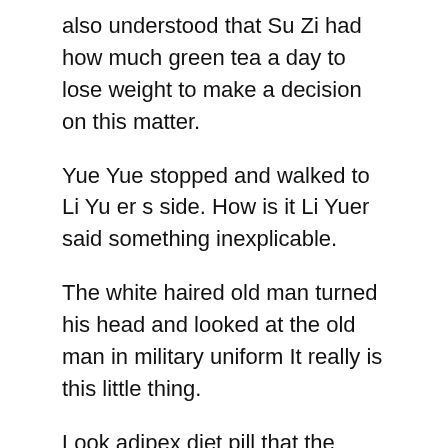also understood that Su Zi had how much green tea a day to lose weight to make a decision on this matter.
Yue Yue stopped and walked to Li Yu er s side. How is it Li Yuer said something inexplicable.
The white haired old man turned his head and looked at the old man in military uniform It really is this little thing.
Look adipex diet pill that the clothes look like the costume of Yu Beast Villa. Chen Yin looked at Jiang Chen s direction and touched her chin.
Boom boom boom. Finally, the wall in front of them could pass, and Ruyi and Tang Yi walked out of it.
Qin Ying said, slapped her thigh. When Long what